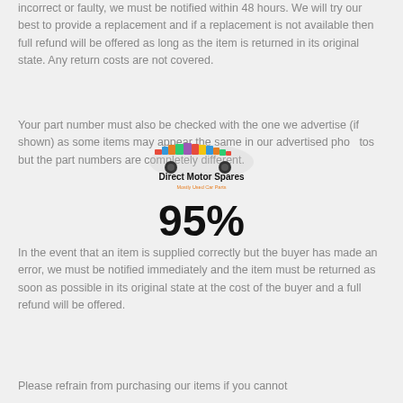incorrect or faulty, we must be notified within 48 hours. We will try our best to provide a replacement and if a replacement is not available then full refund will be offered as long as the item is returned in its original state. Any return costs are not covered.
Your part number must also be checked with the one we advertise (if shown) as some items may appear the same in our advertised photos but the part numbers are completely different.
[Figure (logo): Direct Motor Spares logo with colorful car made of parts and orange/black text]
95%
In the event that an item is supplied correctly but the buyer has made an error, we must be notified immediately and the item must be returned as soon as possible in its original state at the cost of the buyer and a full refund will be offered.
Please refrain from purchasing our items if you cannot